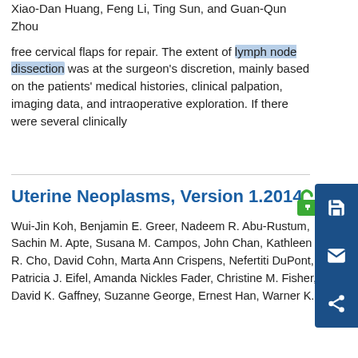Xiao-Dan Huang, Feng Li, Ting Sun, and Guan-Qun Zhou
free cervical flaps for repair. The extent of lymph node dissection was at the surgeon's discretion, mainly based on the patients' medical histories, clinical palpation, imaging data, and intraoperative exploration. If there were several clinically
Uterine Neoplasms, Version 1.2014
Wui-Jin Koh, Benjamin E. Greer, Nadeem R. Abu-Rustum, Sachin M. Apte, Susana M. Campos, John Chan, Kathleen R. Cho, David Cohn, Marta Ann Crispens, Nefertiti DuPont, Patricia J. Eifel, Amanda Nickles Fader, Christine M. Fisher, David K. Gaffney, Suzanne George, Ernest Han, Warner K.